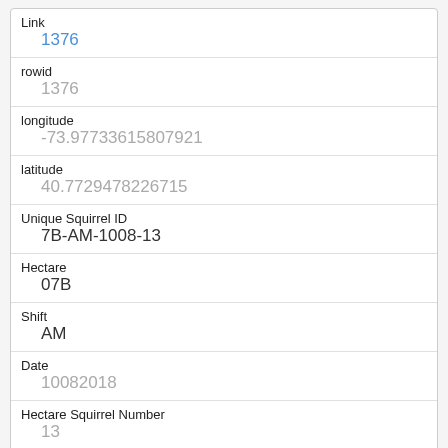| Field | Value |
| --- | --- |
| Link | 1376 |
| rowid | 1376 |
| longitude | -73.97733615807921 |
| latitude | 40.7729478226715 |
| Unique Squirrel ID | 7B-AM-1008-13 |
| Hectare | 07B |
| Shift | AM |
| Date | 10082018 |
| Hectare Squirrel Number | 13 |
| Age | Adult |